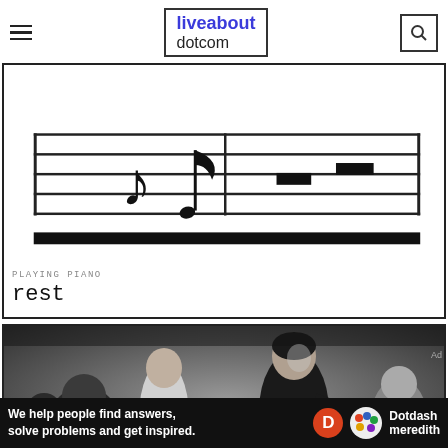liveabout dotcom
[Figure (illustration): Musical staff notation showing notes and rests on a five-line staff, with a thick black bar at the bottom. Black and white image.]
PLAYING PIANO
rest
[Figure (photo): Black and white historical photograph of a man (resembling Beethoven) conducting or gesturing dramatically, surrounded by people in 19th century attire.]
We help people find answers, solve problems and get inspired.